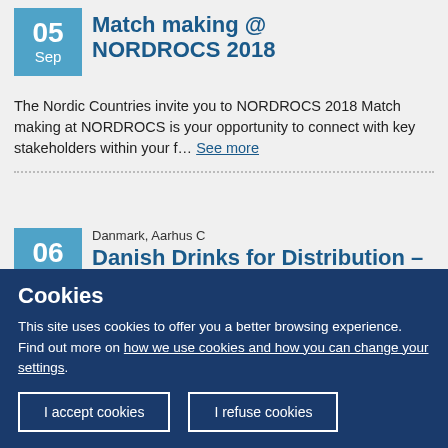Match making @ NORDROCS 2018
The Nordic Countries invite you to NORDROCS 2018 Match making at NORDROCS is your opportunity to connect with key stakeholders within your f... See more
Danmark, Aarhus C — Danish Drinks for Distribution – European distributors/importers meet Danish producers of alcoholic and
Cookies
This site uses cookies to offer you a better browsing experience. Find out more on how we use cookies and how you can change your settings.
I accept cookies | I refuse cookies